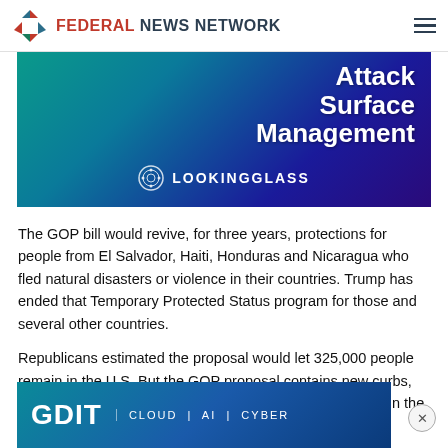FEDERAL NEWS NETWORK
[Figure (screenshot): Advertisement banner for LookingGlass Attack Surface Management with teal/blue background and jellyfish imagery]
The GOP bill would revive, for three years, protections for people from El Salvador, Haiti, Honduras and Nicaragua who fled natural disasters or violence in their countries. Trump has ended that Temporary Protected Status program for those and several other countries.
Republicans estimated the proposal would let 325,000 people remain in the U.S. But the GOP proposal contains new curbs, providing those protections only to those who are already in the U.S. feder...
[Figure (screenshot): Advertisement banner for GDIT - CLOUD | AI | CYBER with blue background and jellyfish imagery]